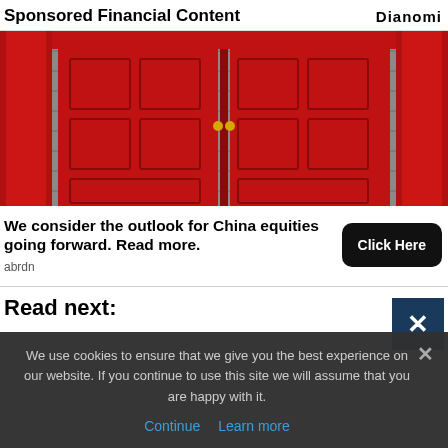Sponsored Financial Content
Dianomi
[Figure (photo): Red ornate double doors with decorative patterns set in a grey stone brick wall, with red pillars on either side]
We consider the outlook for China equities going forward. Read more.
abrdn
Click Here
Read next:
We use cookies to ensure that we give you the best experience on our website. If you continue to use this site we will assume that you are happy with it.
Continue  Learn more